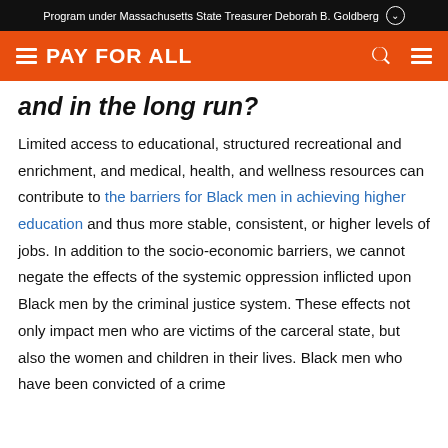Program under Massachusetts State Treasurer Deborah B. Goldberg
[Figure (logo): PAY FOR ALL navigation bar with hamburger menu logo, search icon, and menu icon on orange background]
and in the long run?
Limited access to educational, structured recreational and enrichment, and medical, health, and wellness resources can contribute to the barriers for Black men in achieving higher education and thus more stable, consistent, or higher levels of jobs. In addition to the socio-economic barriers, we cannot negate the effects of the systemic oppression inflicted upon Black men by the criminal justice system. These effects not only impact men who are victims of the carceral state, but also the women and children in their lives. Black men who have been convicted of a crime